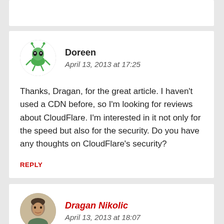[Figure (illustration): Partial white comment card at top, cut off]
Doreen
April 13, 2013 at 17:25
Thanks, Dragan, for the great article. I haven't used a CDN before, so I'm looking for reviews about CloudFlare. I'm interested in it not only for the speed but also for the security. Do you have any thoughts on CloudFlare's security?
REPLY
Dragan Nikolic
April 13, 2013 at 18:07